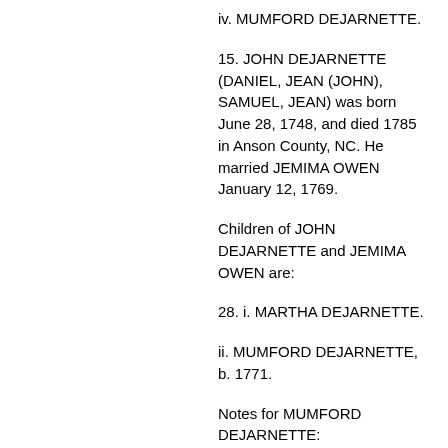iv. MUMFORD DEJARNETTE.
15. JOHN DEJARNETTE (DANIEL, JEAN (JOHN), SAMUEL, JEAN) was born June 28, 1748, and died 1785 in Anson County, NC. He married JEMIMA OWEN January 12, 1769.
Children of JOHN DEJARNETTE and JEMIMA OWEN are:
28. i. MARTHA DEJARNETTE.
ii. MUMFORD DEJARNETTE, b. 1771.
Notes for MUMFORD DEJARNETTE:
Died in infancy.